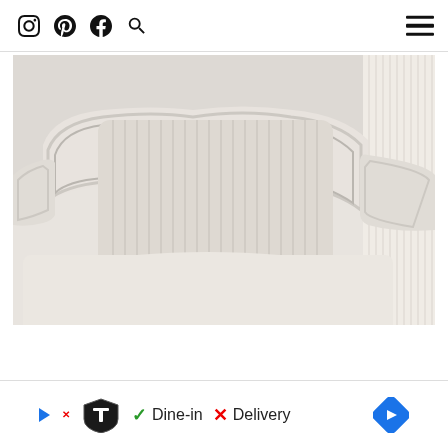Social media icons: Instagram, Pinterest, Facebook, Search; Hamburger menu
[Figure (photo): Close-up photograph of a white painted French-style armchair with carved wooden frame and striped cushion pillow, photographed in a light, airy room with white curtains]
[Figure (screenshot): Advertisement banner: TopGolf logo with play button and X button, text showing Dine-in with green checkmark and Delivery with red X, blue diamond arrow on the right]